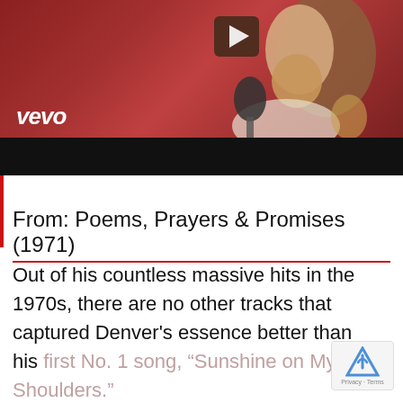[Figure (screenshot): Vevo music video thumbnail showing a person singing into a microphone with a reddish-brown background, a play button icon in the upper right, the Vevo logo in white italic text on the lower left, and a black bar at the bottom.]
From: Poems, Prayers & Promises (1971)
Out of his countless massive hits in the 1970s, there are no other tracks that captured Denver's essence better than his first No. 1 song, “Sunshine on My Shoulders.”